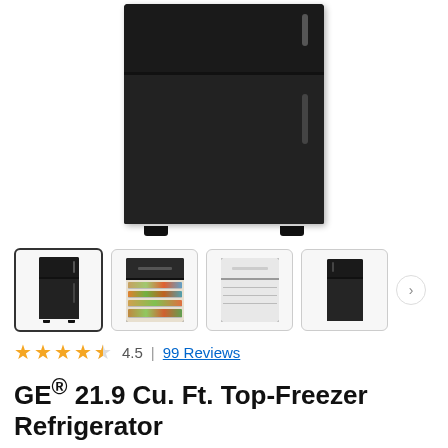[Figure (photo): Main product photo of a black GE top-freezer refrigerator, closed, front view, on white background]
[Figure (photo): Four thumbnail images of GE refrigerator: (1) closed black front view (selected), (2) open with food inside, (3) open doors showing white interior, (4) closed front view alternate angle. A right-arrow navigation button is visible.]
4.5 | 99 Reviews
GE® 21.9 Cu. Ft. Top-Freezer Refrigerator